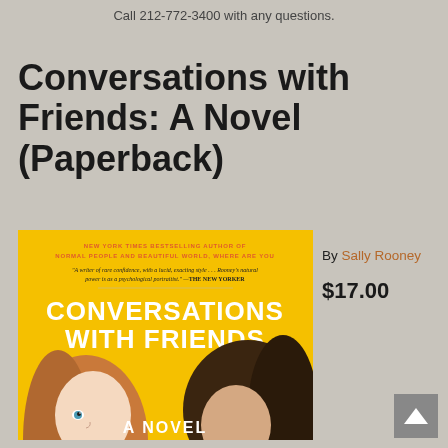Call 212-772-3400 with any questions.
Conversations with Friends: A Novel (Paperback)
[Figure (illustration): Book cover of 'Conversations with Friends: A Novel' by Sally Rooney. Yellow background with illustrated faces of two people. Text includes 'New York Times Bestselling Author of Normal People and Beautiful World, Where Are You' in orange, a quote from The New Yorker in italic, and the title 'Conversations with Friends' and 'A Novel' in white bold text.]
By Sally Rooney
$17.00